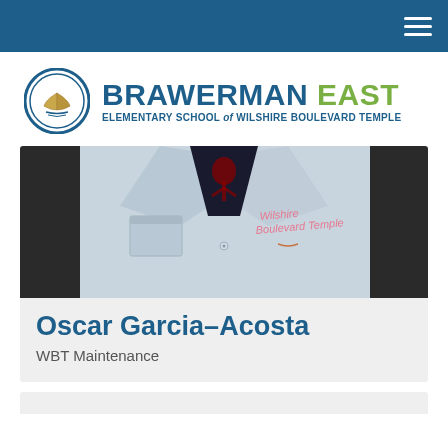Navigation bar with hamburger menu
[Figure (logo): Brawerman East Elementary School of Wilshire Boulevard Temple logo with circular book emblem]
[Figure (photo): Close-up photo of a person wearing a light blue lab coat with 'Wilshire Boulevard Temple' embroidered in pink on the chest pocket]
Oscar Garcia-Acosta
WBT Maintenance
[Figure (other): Partial grey card visible at bottom of page]